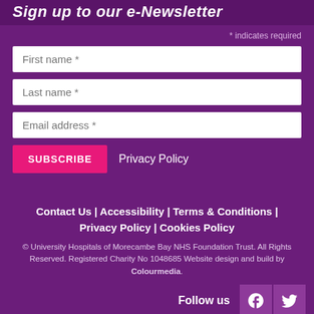Sign up to our e-Newsletter
* indicates required
First name *
Last name *
Email address *
SUBSCRIBE   Privacy Policy
Contact Us | Accessibility | Terms & Conditions | Privacy Policy | Cookies Policy
© University Hospitals of Morecambe Bay NHS Foundation Trust. All Rights Reserved. Registered Charity No 1048685 Website design and build by Colourmedia.
Follow us